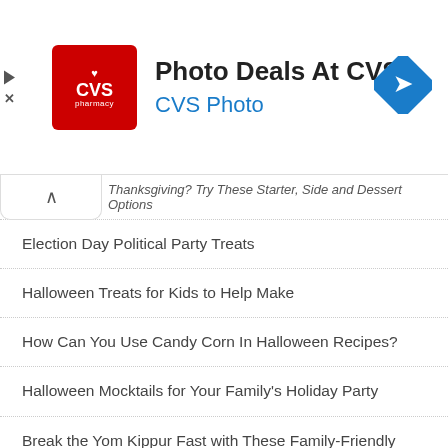[Figure (logo): CVS Pharmacy advertisement banner with red CVS logo, title 'Photo Deals At CVS®', subtitle 'CVS Photo', and a blue diamond navigation arrow icon on the right]
Thanksgiving? Try These Starter, Side and Dessert Options
Election Day Political Party Treats
Halloween Treats for Kids to Help Make
How Can You Use Candy Corn In Halloween Recipes?
Halloween Mocktails for Your Family's Holiday Party
Break the Yom Kippur Fast with These Family-Friendly Foods
Rosh Hashanah Culinary Creations for Kids to Help Cook